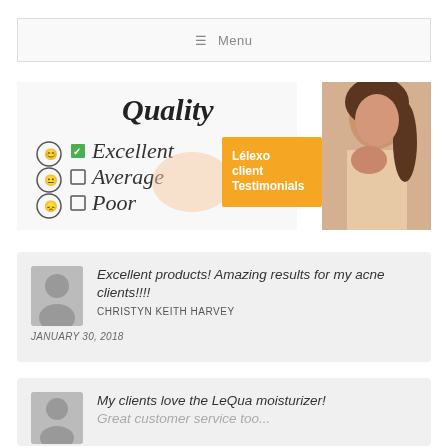≡ Menu
[Figure (illustration): Hero banner showing a quality checklist (Excellent checked, Average, Poor) with a hand holding a green marker, an orange banner reading 'Lélexo client Testimonials', and a woman's photo on the right.]
Excellent products! Amazing results for my acne clients!!!!
CHRISTYN KEITH HARVEY
JANUARY 30, 2018
My clients love the LeQua moisturizer! Great customer service too...